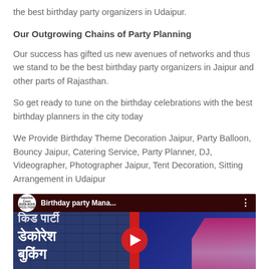the best birthday party organizers in Udaipur.
Our Outgrowing Chains of Party Planning
Our success has gifted us new avenues of networks and thus we stand to be the best birthday party organizers in Jaipur and other parts of Rajasthan.
So get ready to tune on the birthday celebrations with the best birthday planners in the city today
We Provide Birthday Theme Decoration Jaipur, Party Balloon, Bouncy Jaipur, Catering Service, Party Planner, DJ, Videographer, Photographer Jaipur, Tent Decoration, Sitting Arrangement in Udaipur
[Figure (screenshot): YouTube video thumbnail for 'Birthday party Mana...' showing Hindi text for party decoration booking, phone number 992-8686-346, with Rajasthan Event logo and play button.]